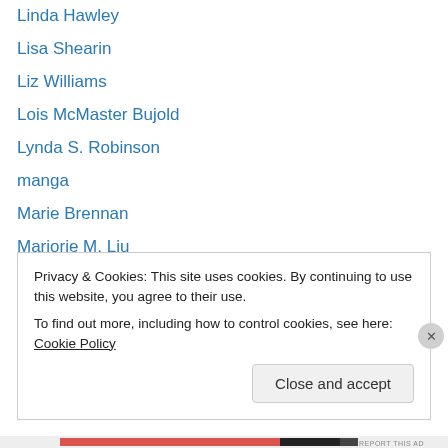Linda Hawley
Lisa Shearin
Liz Williams
Lois McMaster Bujold
Lynda S. Robinson
manga
Marie Brennan
Marjorie M. Liu
Marvel comics
Matthew Woodring Stover
Meme
modesty blaise
monthly round-up
Privacy & Cookies: This site uses cookies. By continuing to use this website, you agree to their use. To find out more, including how to control cookies, see here: Cookie Policy
Close and accept